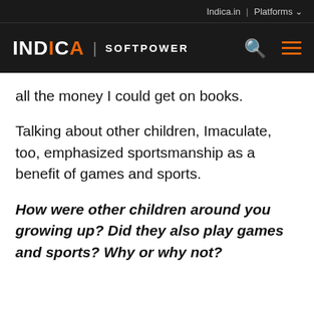Indica.in | Platforms
INDICA | SOFTPOWER
all the money I could get on books.
Talking about other children, Imaculate, too, emphasized sportsmanship as a benefit of games and sports.
How were other children around you growing up? Did they also play games and sports? Why or why not?